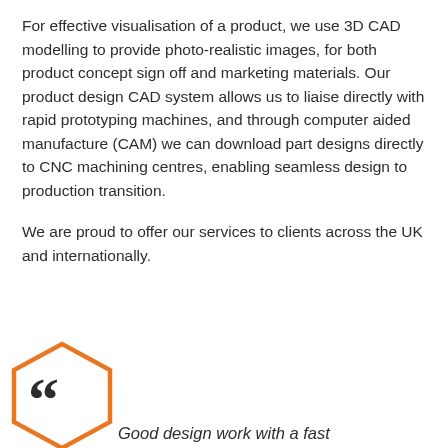For effective visualisation of a product, we use 3D CAD modelling to provide photo-realistic images, for both product concept sign off and marketing materials. Our product design CAD system allows us to liaise directly with rapid prototyping machines, and through computer aided manufacture (CAM) we can download part designs directly to CNC machining centres, enabling seamless design to production transition.

We are proud to offer our services to clients across the UK and internationally.
[Figure (illustration): Orange hexagon outline with large quotation marks (66) inside, partially visible at bottom-left of page]
Good design work with a fast...